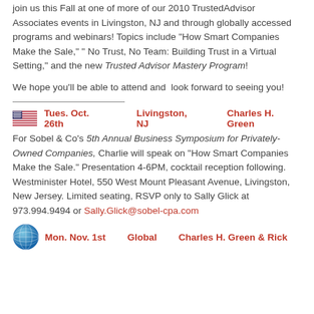Join us this Fall at one of more of our 2010 TrustedAdvisor Associates events in Livingston, NJ and through globally accessed programs and webinars!  Topics include "How Smart Companies Make the Sale," " No Trust, No Team: Building Trust in a Virtual Setting," and the new Trusted Advisor Mastery Program!
We hope you'll be able to attend and  look forward to seeing you!
Tues. Oct. 26th     Livingston, NJ     Charles H. Green
For Sobel & Co's 5th Annual Business Symposium for Privately-Owned Companies, Charlie will speak on "How Smart Companies Make the Sale." Presentation 4-6PM, cocktail reception following. Westminister Hotel, 550 West Mount Pleasant Avenue, Livingston, New Jersey. Limited seating, RSVP only to Sally Glick at 973.994.9494 or Sally.Glick@sobel-cpa.com
Mon. Nov. 1st     Global     Charles H. Green & Rick